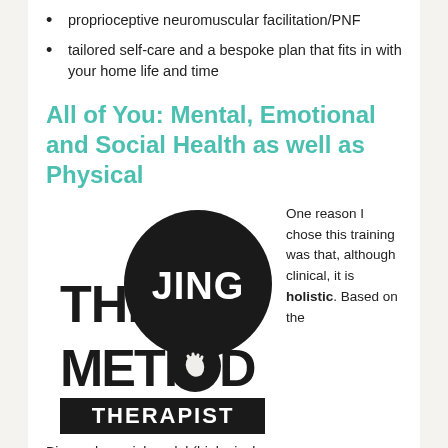proprioceptive neuromuscular facilitation/PNF
tailored self-care and a bespoke plan that fits in with your home life and time
All of You: Mental, Emotional and Social Health as well as Physical
[Figure (logo): The Jing Method Therapist logo — black circle with JING in white bold text, THE and METHOD in large black text flanking the circle, a hand icon in the O of METHOD, and a black rectangle below with THERAPIST in white bold text]
One reason I chose this training was that, although clinical, it is holistic. Based on the
Biopsychosocial model (biological,